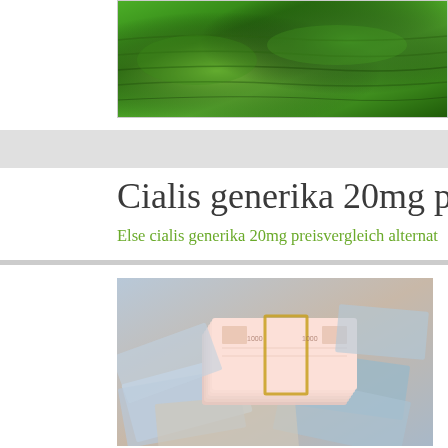[Figure (photo): Green terraced fields aerial view banner image]
Cialis generika 20mg preisve
Else cialis generika 20mg preisvergleich alternat
[Figure (photo): Stacks of Russian ruble banknotes spread on a surface]